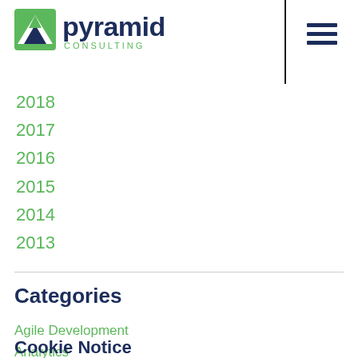[Figure (logo): Pyramid Consulting logo with green mountain/triangle icon and dark blue text reading 'pyramid CONSULTING']
2018
2017
2016
2015
2014
2013
Categories
Agile Development
Analytics
Cookie Notice